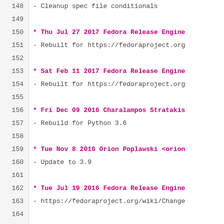148  - Cleanup spec file conditionals
149
150  * Thu Jul 27 2017 Fedora Release Engine
151  - Rebuilt for https://fedoraproject.org
152
153  * Sat Feb 11 2017 Fedora Release Engine
154  - Rebuilt for https://fedoraproject.org
155
156  * Fri Dec 09 2016 Charalampos Stratakis
157  - Rebuild for Python 3.6
158
159  * Tue Nov 8 2016 Orion Poplawski <orion
160  - Update to 3.9
161
162  * Tue Jul 19 2016 Fedora Release Engine
163  - https://fedoraproject.org/wiki/Change
164
165  * Sun Apr 10 2016 Igor Gnatenko <ignate
166  - Update to 3.8
167  - Follow new packaging guidelines
168  - Run tests
169
170  * Thu Feb 04 2016 Fedora Release Engine
171  - Rebuilt for https://fedoraproject.org
172